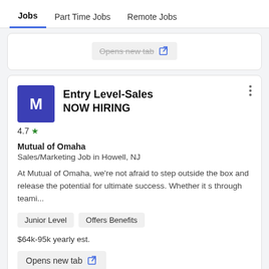Jobs  Part Time Jobs  Remote Jobs
Opens new tab
Entry Level-Sales NOW HIRING
Mutual of Omaha
Sales/Marketing Job in Howell, NJ
At Mutual of Omaha, we're not afraid to step outside the box and release the potential for ultimate success. Whether it s through teami...
Junior Level
Offers Benefits
$64k-95k yearly est.
Opens new tab